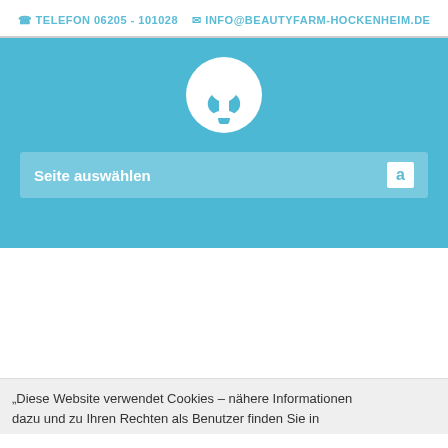☎ TELEFON 06205 - 101028   ✉ INFO@BEAUTYFARM-HOCKENHEIM.DE
[Figure (logo): White circular logo with a woman's profile silhouette, on a teal/sky-blue background]
Seite auswählen
„Diese Website verwendet Cookies – nähere Informationen dazu und zu Ihren Rechten als Benutzer finden Sie in